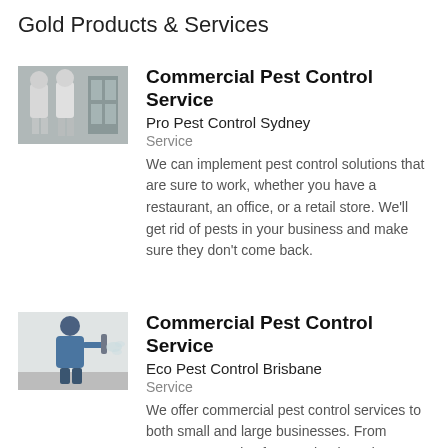Gold Products & Services
[Figure (photo): Two pest control workers in protective suits, industrial setting]
Commercial Pest Control Service
Pro Pest Control Sydney
Service
We can implement pest control solutions that are sure to work, whether you have a restaurant, an office, or a retail store. We'll get rid of pests in your business and make sure they don't come back.
[Figure (photo): Pest control technician spraying near wall]
Commercial Pest Control Service
Eco Pest Control Brisbane
Service
We offer commercial pest control services to both small and large businesses. From restaurants and cafes to schools and residential buildings, there is something for everyone. Because of our...